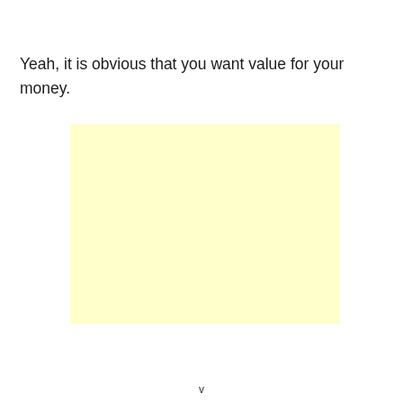Yeah, it is obvious that you want value for your money.
[Figure (other): A plain light yellow rectangular box, blank interior, no content.]
v